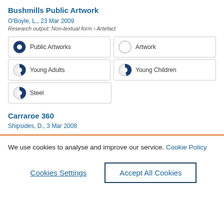Bushmills Public Artwork
O'Boyle, L., 23 Mar 2009
Research output: Non-textual form › Artefact
Public Artworks
Artwork
Young Adults
Young Children
Steel
Carraroe 360
Shipsides, D., 3 Mar 2008
We use cookies to analyse and improve our service. Cookie Policy
Cookies Settings
Accept All Cookies